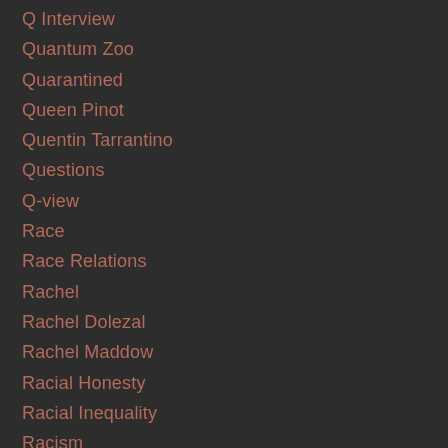Q Interview
Quantum Zoo
Quarantined
Queen Pinot
Quentin Tarrantino
Questions
Q-view
Race
Race Relations
Rachel
Rachel Dolezal
Rachel Maddow
Racial Honesty
Racial Inequality
Racism
Racisms
Racist
Racists
Radical
Radio